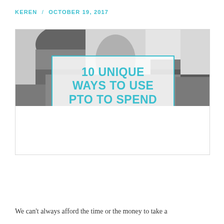KEREN / OCTOBER 19, 2017
[Figure (photo): Black and white photo of children with overlaid text box reading '10 UNIQUE WAYS TO USE PTO TO SPEND' in teal/cyan bold uppercase letters inside a teal border box on a semi-transparent white background]
We can't always afford the time or the money to take a